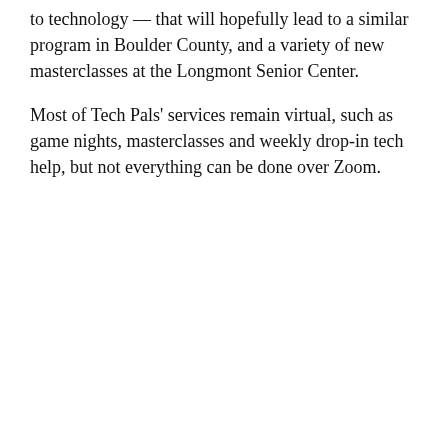to technology — that will hopefully lead to a similar program in Boulder County, and a variety of new masterclasses at the Longmont Senior Center.
Most of Tech Pals' services remain virtual, such as game nights, masterclasses and weekly drop-in tech help, but not everything can be done over Zoom.
[Figure (photo): Advertisement banner for Primal Pet Foods Inc. showing product packaging on left and brand logo on right]
[Figure (infographic): Advertisement for JBF sale: Shop & Save 50-90% HUGE Kids' Sale! AUGUST 24-28 GET TICKETS longmont.jbfsale.com]